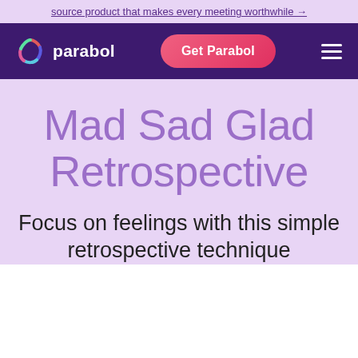source product that makes every meeting worthwhile →
[Figure (logo): Parabol logo with circular icon and navbar containing Get Parabol button and hamburger menu on dark purple background]
Mad Sad Glad Retrospective
Focus on feelings with this simple retrospective technique